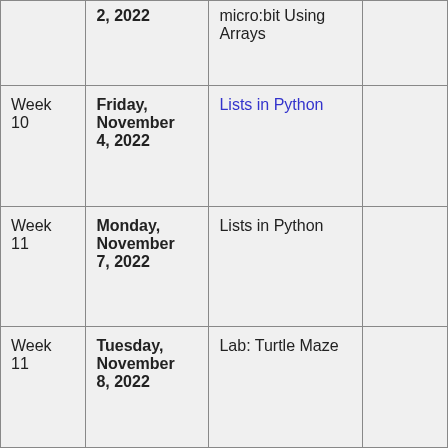| Week | Date | Topic |  |
| --- | --- | --- | --- |
|  | 2, 2022 | micro:bit Using Arrays |  |
| Week 10 | Friday, November 4, 2022 | Lists in Python |  |
| Week 11 | Monday, November 7, 2022 | Lists in Python |  |
| Week 11 | Tuesday, November 8, 2022 | Lab: Turtle Maze |  |